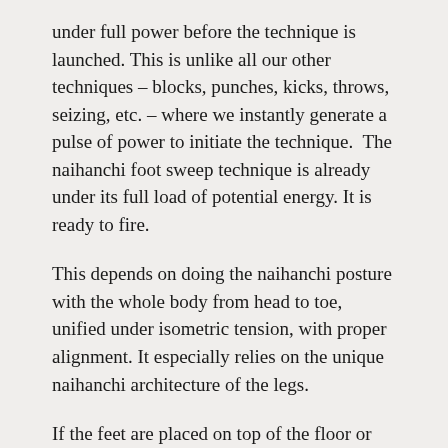under full power before the technique is launched. This is unlike all our other techniques – blocks, punches, kicks, throws, seizing, etc. – where we instantly generate a pulse of power to initiate the technique.  The naihanchi foot sweep technique is already under its full load of potential energy. It is ready to fire.
This depends on doing the naihanchi posture with the whole body from head to toe, unified under isometric tension, with proper alignment. It especially relies on the unique naihanchi architecture of the legs.
If the feet are placed on top of the floor or ground, passively, the technique will not work